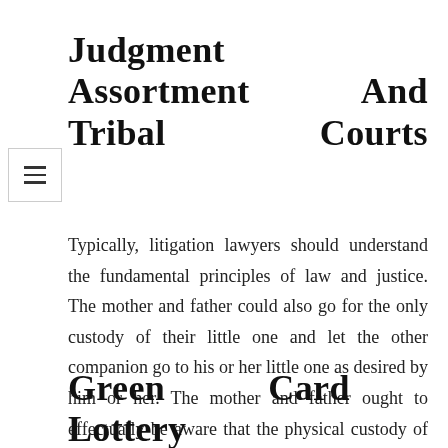Judgment Assortment And Tribal Courts
Typically, litigation lawyers should understand the fundamental principles of law and justice. The mother and father could also go for the only custody of their little one and let the other companion go to his or her little one as desired by him or her. The mother and father ought to effectually be aware that the physical custody of a child dictates with whom a kid is going to stay with. And the authorized custody depicts which mother or father goes to have closing say in the choices of medical, instructional and spiritual aspects of a child.
Green Card Lottery Interview Course of